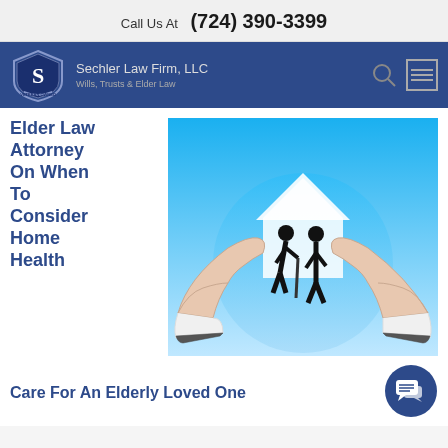Call Us At  (724) 390-3399
[Figure (logo): Sechler Law Firm LLC navigation bar with shield logo, firm name 'Sechler Law Firm, LLC – Wills, Trusts & Elder Law', search icon, and menu icon on dark blue background]
Elder Law Attorney On When To Consider Home Health Care For An Elderly Loved One
[Figure (illustration): Illustration of two hands forming a protective roof shape over silhouettes of an elderly couple, with a house outline in the background on a blue gradient background]